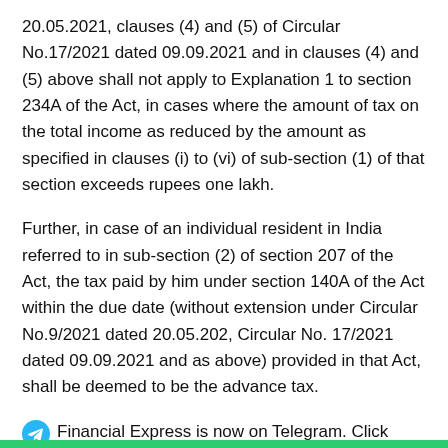20.05.2021, clauses (4) and (5) of Circular No.17/2021 dated 09.09.2021 and in clauses (4) and (5) above shall not apply to Explanation 1 to section 234A of the Act, in cases where the amount of tax on the total income as reduced by the amount as specified in clauses (i) to (vi) of sub-section (1) of that section exceeds rupees one lakh.
Further, in case of an individual resident in India referred to in sub-section (2) of section 207 of the Act, the tax paid by him under section 140A of the Act within the due date (without extension under Circular No.9/2021 dated 20.05.202, Circular No. 17/2021 dated 09.09.2021 and as above) provided in that Act, shall be deemed to be the advance tax.
Financial Express is now on Telegram. Click here to join our channel and stay updated with the latest Biz news and updates.